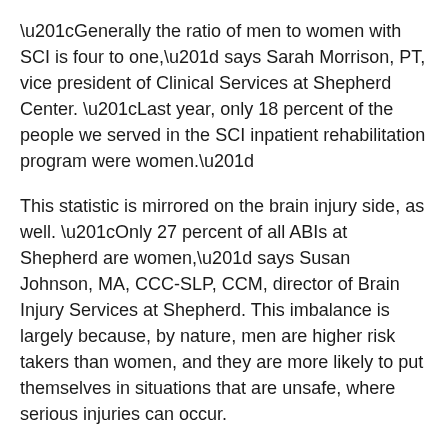“Generally the ratio of men to women with SCI is four to one,” says Sarah Morrison, PT, vice president of Clinical Services at Shepherd Center. “Last year, only 18 percent of the people we served in the SCI inpatient rehabilitation program were women.”
This statistic is mirrored on the brain injury side, as well. “Only 27 percent of all ABIs at Shepherd are women,” says Susan Johnson, MA, CCC-SLP, CCM, director of Brain Injury Services at Shepherd. This imbalance is largely because, by nature, men are higher risk takers than women, and they are more likely to put themselves in situations that are unsafe, where serious injuries can occur.
“SCI has many causes, but the typical ones are associated with major trauma from moving vehicle accidents, falls, sports and violence,” Morrison says. “In general, men take more risks and are more likely to engage in highly dangerous sports or